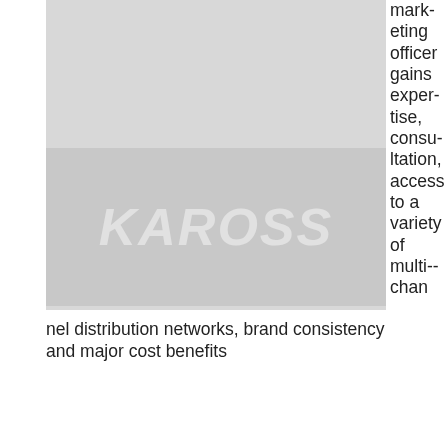[Figure (photo): Two overlapping photo/image blocks — upper lighter gray rectangle and lower darker gray rectangle with faint italic text overlay (possibly a logo or watermark).]
marketing officer gains expertise, consultation, access to a variety of multi-channel distribution networks, brand consistency and major cost benefits